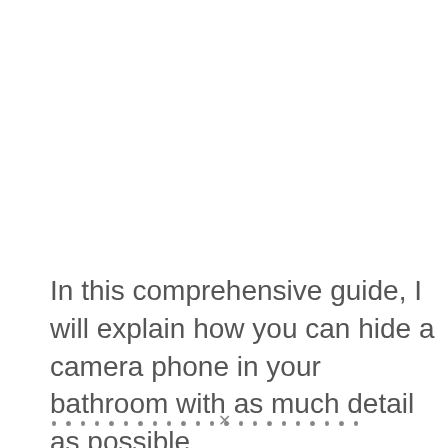In this comprehensive guide, I will explain how you can hide a camera phone in your bathroom with as much detail as possible.
· · · · · · · · · · · · · · · · · ·